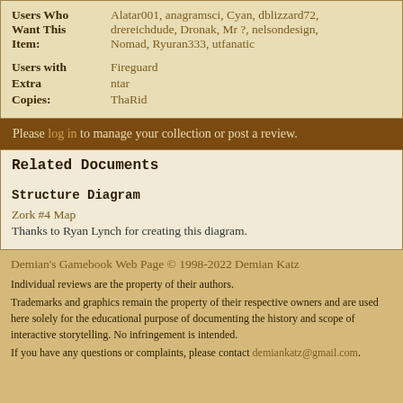| Users Who Want This Item: | Alatar001, anagramsci, Cyan, dblizzard72, drereichdude, Dronak, Mr ?, nelsondesign, Nomad, Ryuran333, utfanatic |
| Users with Extra Copies: | Fireguard
ntar
ThaRid |
Please log in to manage your collection or post a review.
Related Documents
Structure Diagram
Zork #4 Map
Thanks to Ryan Lynch for creating this diagram.
Demian's Gamebook Web Page © 1998-2022 Demian Katz
Individual reviews are the property of their authors.
Trademarks and graphics remain the property of their respective owners and are used here solely for the educational purpose of documenting the history and scope of interactive storytelling. No infringement is intended.
If you have any questions or complaints, please contact demiankatz@gmail.com.